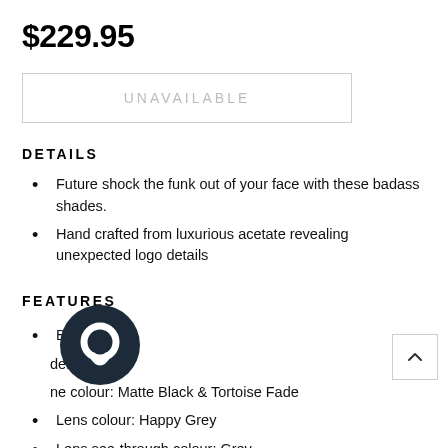$229.95
UNAVAILABLE
DETAILS
Future shock the funk out of your face with these badass shades.
Hand crafted from luxurious acetate revealing unexpected logo details
FEATURES
Brand: Spy
Model: Flynn
Frame colour: Matte Black & Tortoise Fade
Lens colour: Happy Grey
Lens see-through colour: Grey